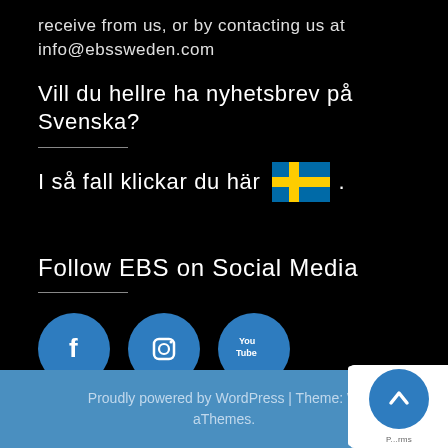receive from us, or by contacting us at info@ebssweden.com
Vill du hellre ha nyhetsbrev på Svenska?
I så fall klickar du här 🇸🇪.
Follow EBS on Social Media
[Figure (illustration): Three social media icon circles: Facebook (f), Instagram (camera), YouTube (You Tube logo), in blue circles on black background]
Proudly powered by WordPress | Theme: W... aThemes.